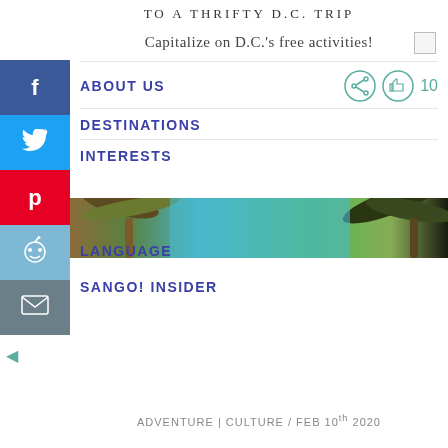TO A THRIFTY D.C. TRIP
Capitalize on D.C.'s free activities!
ABOUT US
DESTINATIONS
INTERESTS
[Figure (photo): Palm trees against blue sky, tropical photo strip]
LANGUAGE
SANGO! INSIDER
ADVENTURE | CULTURE / FEB 10th 2020